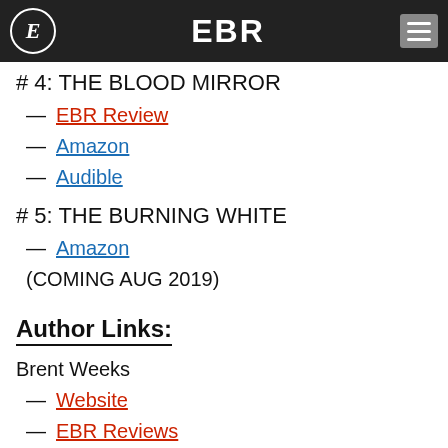EBR
# 4: THE BLOOD MIRROR
— EBR Review
— Amazon
— Audible
# 5: THE BURNING WHITE
— Amazon
(COMING AUG 2019)
Author Links:
Brent Weeks
— Website
— EBR Reviews